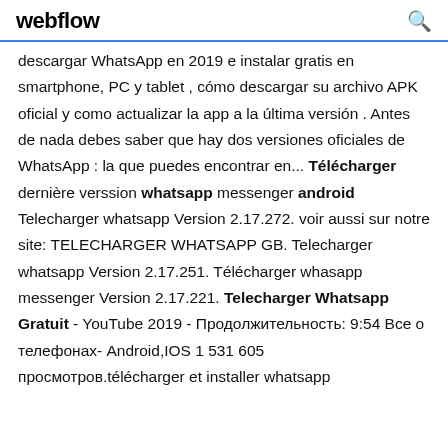webflow
descargar WhatsApp en 2019 e instalar gratis en smartphone, PC y tablet , cómo descargar su archivo APK oficial y como actualizar la app a la última versión . Antes de nada debes saber que hay dos versiones oficiales de WhatsApp : la que puedes encontrar en... Télécharger dernière verssion whatsapp messenger android Telecharger whatsapp Version 2.17.272. voir aussi sur notre site: TELECHARGER WHATSAPP GB. Telecharger whatsapp Version 2.17.251. Télécharger whasapp messenger Version 2.17.221. Telecharger Whatsapp Gratuit - YouTube 2019 - Продолжительность: 9:54 Все о телефонах- Android,IOS 1 531 605 просмотров.télécharger et installer whatsapp